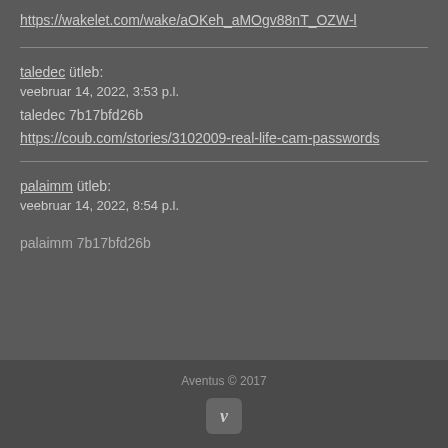https://wakelet.com/wake/aOKeh_aMOgv88nT_OZW-l
taledec ütleb:
veebruar 14, 2022, 3:53 p.l.
taledec 7b17bfd26b
https://coub.com/stories/3102009-real-life-cam-passwords
palaimm ütleb:
veebruar 14, 2022, 8:54 p.l.
palaimm 7b17bfd26b
Aventus © 2017